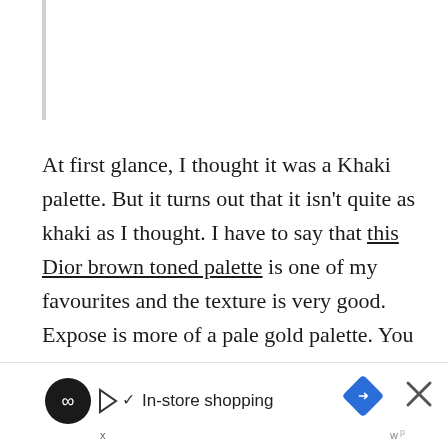At first glance, I thought it was a Khaki palette. But it turns out that it isn't quite as khaki as I thought. I have to say that this Dior brown toned palette is one of my favourites and the texture is very good. Expose is more of a pale gold palette. You will see the swatches below, where 4 out of 5 colours are actually quite light and shimmery, with only the matte warm reddish brown in the lower left corner to ground the colours.
For the most part, the textures were smooth, except for th...
[Figure (infographic): Advertisement banner at bottom: black circle icon with infinity/loop symbol, play button icon, checkmark, 'In-store shopping' text, navigation/map icon (blue diamond), X close button, small 'x' and 'w' logos]